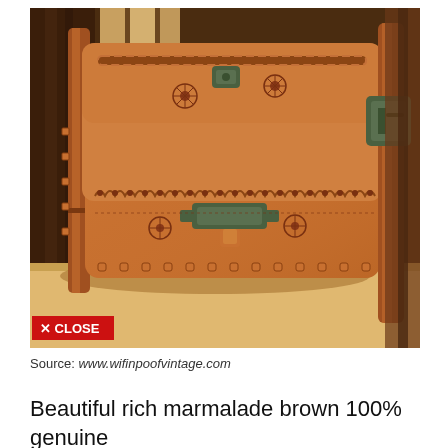[Figure (photo): A brown leather vintage handbag/satchel with embossed floral patterns, braided edge trim, scalloped edges, metal clasp hardware in antique green, and a leather shoulder strap. Photographed on a wooden surface with wooden panel background. A red 'X CLOSE' button appears in the lower left of the image.]
Source: www.wifinpoofvintage.com
Beautiful rich marmalade brown 100% genuine